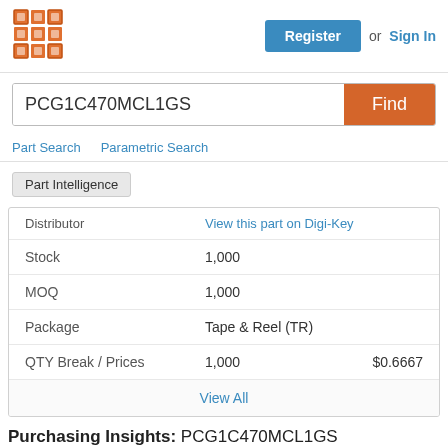Register or Sign In
PCG1C470MCL1GS
Part Search   Parametric Search
Part Intelligence
Distributor   View this part on Digi-Key
| Field | Value | Price |
| --- | --- | --- |
| Stock | 1,000 |  |
| MOQ | 1,000 |  |
| Package | Tape & Reel (TR) |  |
| QTY Break / Prices | 1,000 | $0.6667 |
View All
Purchasing Insights: PCG1C470MCL1GS
Historical Trends